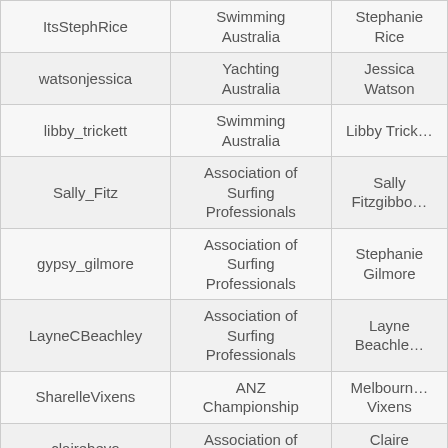| ItsStephRice | Swimming Australia | Stephanie Rice |
| watsonjessica | Yachting Australia | Jessica Watson |
| libby_trickett | Swimming Australia | Libby Trickett |
| Sally_Fitz | Association of Surfing Professionals | Sally Fitzgibbon |
| gypsy_gilmore | Association of Surfing Professionals | Stephanie Gilmore |
| LayneCBeachley | Association of Surfing Professionals | Layne Beachley |
| SharelleVixens | ANZ Championship | Melbourne Vixens |
| clairebevo | Association of Surfing | Claire Povilacq |